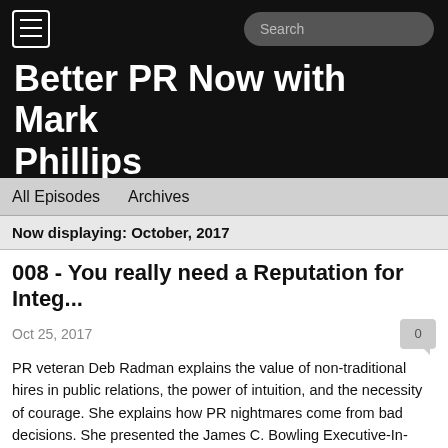Better PR Now with Mark Phillips
All Episodes   Archives
Now displaying: October, 2017
008 - You really need a Reputation for Integ...
Oct 25, 2017
PR veteran Deb Radman explains the value of non-traditional hires in public relations, the power of intuition, and the necessity of courage. She explains how PR nightmares come from bad decisions. She presented the James C. Bowling Executive-In-Residence Lecture Series in the University of Kentucky's Department of Integrated Strategic Communication. She also draws on lessons from Harold Burson, Richard Edelman, Betsy Plank, CKPR and the USO.